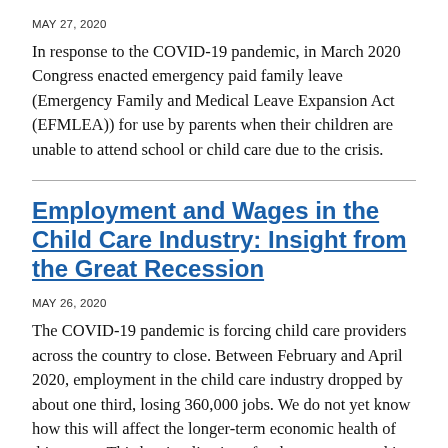MAY 27, 2020
In response to the COVID-19 pandemic, in March 2020 Congress enacted emergency paid family leave (Emergency Family and Medical Leave Expansion Act (EFMLEA)) for use by parents when their children are unable to attend school or child care due to the crisis.
Employment and Wages in the Child Care Industry: Insight from the Great Recession
MAY 26, 2020
The COVID-19 pandemic is forcing child care providers across the country to close. Between February and April 2020, employment in the child care industry dropped by about one third, losing 360,000 jobs. We do not yet know how this will affect the longer-term economic health of this sector. This has implications for the economy and its